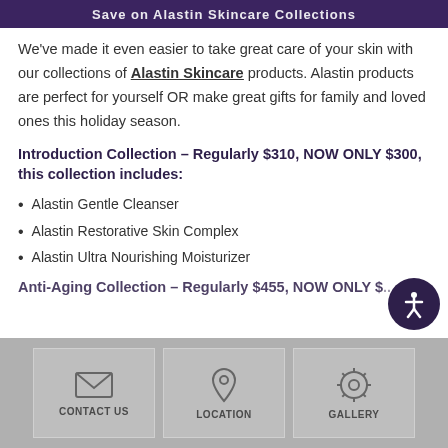Save on Alastin Skincare Collections
We've made it even easier to take great care of your skin with our collections of Alastin Skincare products. Alastin products are perfect for yourself OR make great gifts for family and loved ones this holiday season.
Introduction Collection – Regularly $310, NOW ONLY $300, this collection includes:
Alastin Gentle Cleanser
Alastin Restorative Skin Complex
Alastin Ultra Nourishing Moisturizer
Anti-Aging Collection – Regularly $455, NOW ONLY $...
CONTACT US | LOCATION | GALLERY